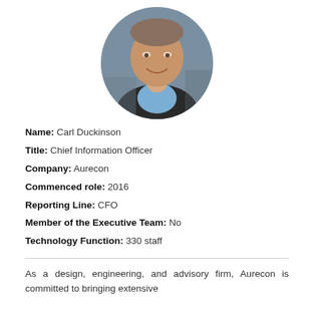[Figure (photo): Circular headshot photo of Carl Duckinson, a middle-aged man smiling, wearing a dark jacket and blue checkered shirt, against an office background.]
Name: Carl Duckinson
Title: Chief Information Officer
Company: Aurecon
Commenced role: 2016
Reporting Line: CFO
Member of the Executive Team: No
Technology Function: 330 staff
As a design, engineering, and advisory firm, Aurecon is committed to bringing extensive